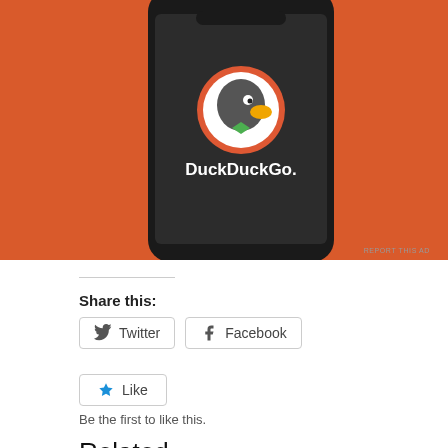[Figure (screenshot): DuckDuckGo app logo on a smartphone screen with orange background. The phone shows the DuckDuckGo duck logo in a red circle and the text 'DuckDuckGo.' in white on a dark screen.]
REPORT THIS AD
Share this:
Twitter
Facebook
Like
Be the first to like this.
Related
Has/How/Why tech blogging has failed
What do the freaking tech